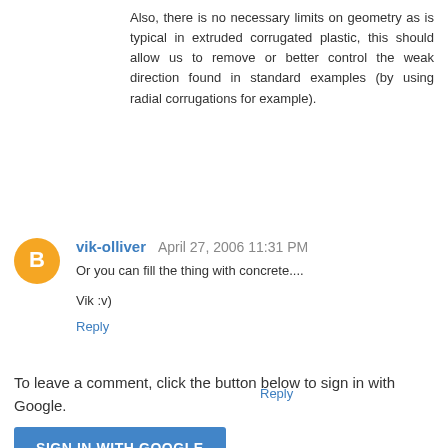Also, there is no necessary limits on geometry as is typical in extruded corrugated plastic, this should allow us to remove or better control the weak direction found in standard examples (by using radial corrugations for example).
Reply
vik-olliver  April 27, 2006 11:31 PM
Or you can fill the thing with concrete....
Vik :v)
Reply
To leave a comment, click the button below to sign in with Google.
SIGN IN WITH GOOGLE